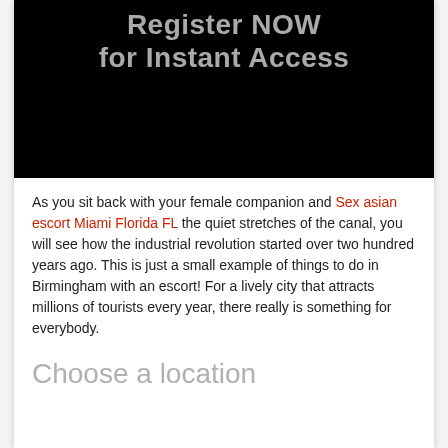[Figure (screenshot): Black banner image with large grey bold text reading 'Register NOW for Instant Access']
As you sit back with your female companion and Sex asian escort Miami Florida FL the quiet stretches of the canal, you will see how the industrial revolution started over two hundred years ago. This is just a small example of things to do in Birmingham with an escort! For a lively city that attracts millions of tourists every year, there really is something for everybody.
Choose a location